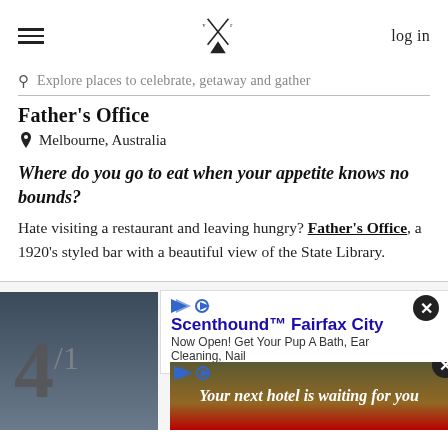log in
Explore places to celebrate, getaway and gather
Father's Office
Melbourne, Australia
Where do you go to eat when your appetite knows no bounds?
Hate visiting a restaurant and leaving hungry? Father's Office, a 1920's styled bar with a beautiful view of the State Library.
[Figure (screenshot): Bottom section showing number 4, a photo background, and two advertisement overlays: Scenthound Fairfax City ad and 'Your next hotel is waiting for you' hotel ad banner.]